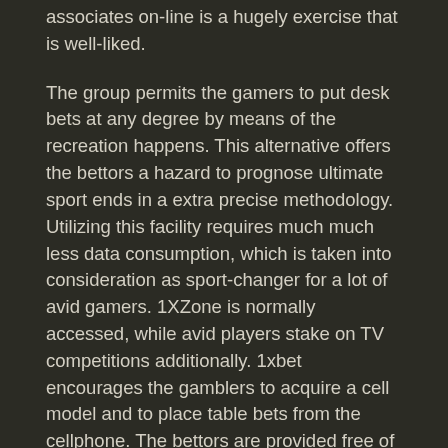associates on-line is a hugely exercise that is well-liked.
The group permits the gamers to put desk bets at any degree by means of the recreation happens. This alternative offers the bettors a hazard to prognose ultimate sport ends in a extra precise methodology. Utilizing this facility requires much much less data consumption, which is taken into consideration as sport-changer for a lot of avid gamers. 1XZone is normally accessed, while avid players stake on TV competitions additionally. 1xbet encourages the gamblers to acquire a cell model and to place table bets from the cellphone. The bettors are provided free of cost deposit bonuses, free spins and likewise double deposit bonus varied.
After the world noticed the ready model of the mobile utility, customers started to reply quite properly about this 1xBet app. There is an official 1xBet bonus of $110 and using a promo code, you probably can increase it $33 extra. Then you can use the money to wager on your favorite group, sports activities, and so forth. You may play some on line casino games on the location or in the 1xBet app. You'll get HD stay streaming, single or accrued bets, odds for the highest matches, etc.